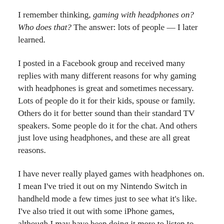I remember thinking, gaming with headphones on? Who does that? The answer: lots of people — I later learned.
I posted in a Facebook group and received many replies with many different reasons for why gaming with headphones is great and sometimes necessary. Lots of people do it for their kids, spouse or family. Others do it for better sound than their standard TV speakers. Some people do it for the chat. And others just love using headphones, and these are all great reasons.
I have never really played games with headphones on. I mean I've tried it out on my Nintendo Switch in handheld mode a few times just to see what it's like. I've also tried it out with some iPhone games, although I may have been doing it more to listen to music while playing a game on my phone. I do use a custom soundtrack for sports games (Gran Turismo and NBA2K) either on my console (Spotify)